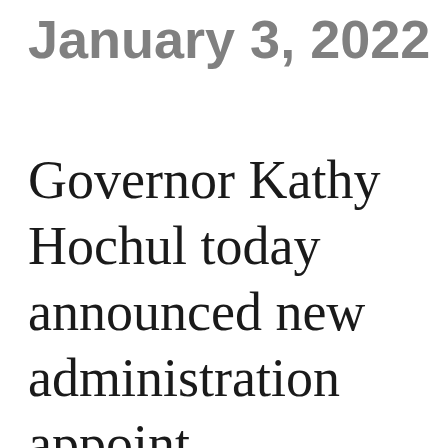January 3, 2022
Governor Kathy Hochul today announced new administration appointments